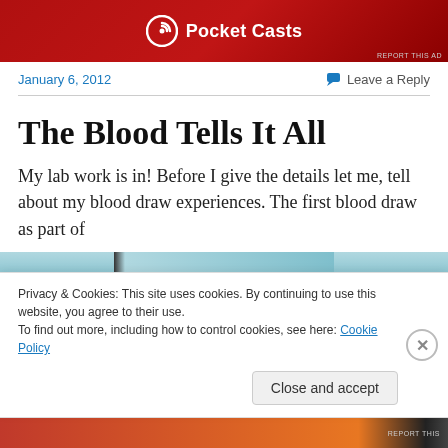[Figure (photo): Pocket Casts advertisement banner with red gradient background and Pocket Casts logo and text in white]
January 6, 2012
Leave a Reply
The Blood Tells It All
My lab work is in! Before I give the details let me, tell about my blood draw experiences. The first blood draw as part of
[Figure (photo): Partial photo of medical/lab equipment with blue background]
Privacy & Cookies: This site uses cookies. By continuing to use this website, you agree to their use.
To find out more, including how to control cookies, see here: Cookie Policy
Close and accept